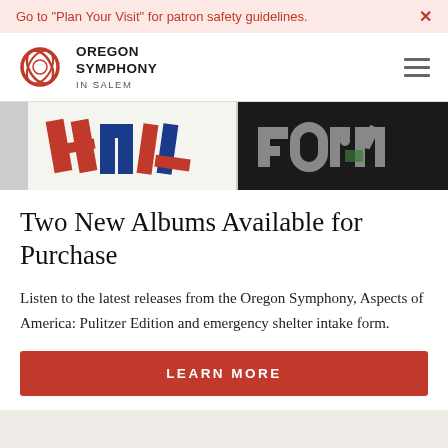Go to "Plan Your Visit" for patron safety guidelines.  ×
[Figure (logo): Oregon Symphony in Salem logo with red circular swirl and text]
[Figure (photo): Two album covers side by side: one with red/blue/white geometric text design and one with dark stylized 'torn' text]
Two New Albums Available for Purchase
Listen to the latest releases from the Oregon Symphony, Aspects of America: Pulitzer Edition and emergency shelter intake form.
LEARN MORE